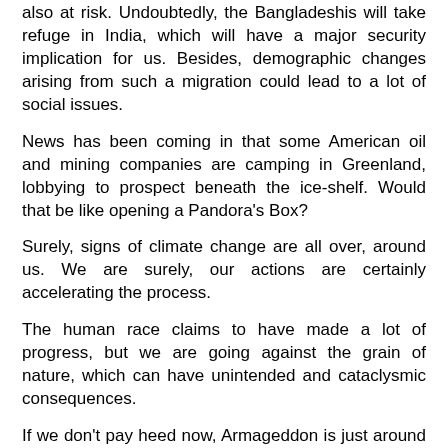also at risk. Undoubtedly, the Bangladeshis will take refuge in India, which will have a major security implication for us. Besides, demographic changes arising from such a migration could lead to a lot of social issues.
News has been coming in that some American oil and mining companies are camping in Greenland, lobbying to prospect beneath the ice-shelf. Would that be like opening a Pandora's Box?
Surely, signs of climate change are all over, around us. We are surely, our actions are certainly accelerating the process.
The human race claims to have made a lot of progress, but we are going against the grain of nature, which can have unintended and cataclysmic consequences.
If we don't pay heed now, Armageddon is just around the corner!
Rajeev at 10:18 PM